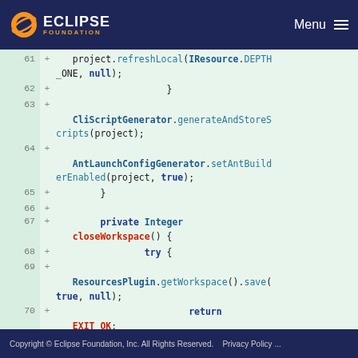Eclipse Foundation | Menu
[Figure (screenshot): Code diff view showing lines 61-70 of a Java file with added lines (+). Code includes project.refreshLocal(IResource.DEPTH_ONE, null), closing brace, CliScriptGenerator.generateAndStoreScripts(project), AntLaunchConfigGenerator.setAntBuilderEnabled(project, true), closing brace, blank line, private Integer closeWorkspace() {, try {, ResourcesPlugin.getWorkspace().save(true, null), return EXIT_OK;]
Copyright © Eclipse Foundation, Inc. All Rights Reserved.   Privacy Policy ...